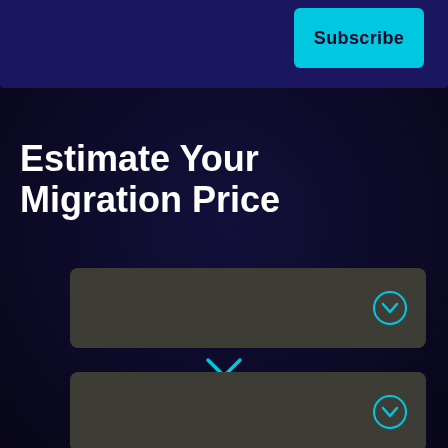[Figure (screenshot): Top banner with dark blue/purple background]
Subscribe
Estimate Your Migration Price
[Figure (other): Dropdown selector field 1 with cyan chevron circle icon]
[Figure (other): Cyan chevron/arrow connector between two dropdowns]
[Figure (other): Dropdown selector field 2 with cyan chevron circle icon]